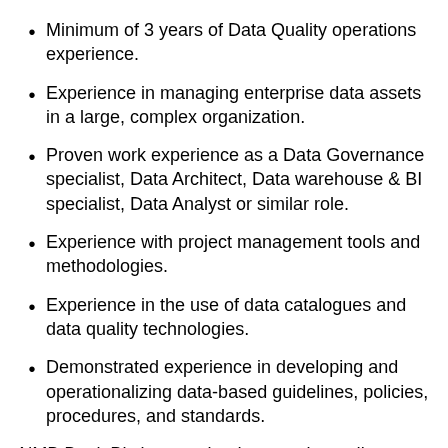Minimum of 3 years of Data Quality operations experience.
Experience in managing enterprise data assets in a large, complex organization.
Proven work experience as a Data Governance specialist, Data Architect, Data warehouse & BI specialist, Data Analyst or similar role.
Experience with project management tools and methodologies.
Experience in the use of data catalogues and data quality technologies.
Demonstrated experience in developing and operationalizing data-based guidelines, policies, procedures, and standards.
NMB Bank Plc is committed to creating a diverse